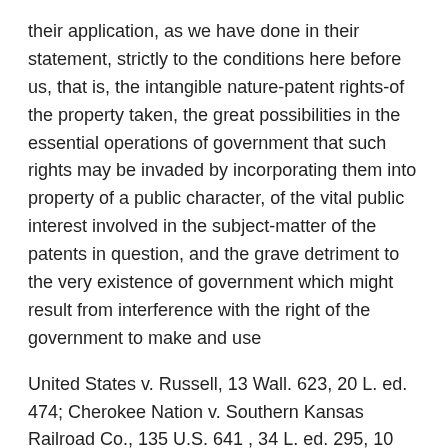their application, as we have done in their statement, strictly to the conditions here before us, that is, the intangible nature-patent rights-of the property taken, the great possibilities in the essential operations of government that such rights may be invaded by incorporating them into property of a public character, of the vital public interest involved in the subject-matter of the patents in question, and the grave detriment to the very existence of government which might result from interference with the right of the government to make and use
United States v. Russell, 13 Wall. 623, 20 L. ed. 474; Cherokee Nation v. Southern Kansas Railroad Co., 135 U.S. 641 , 34 L. ed. 295, 10 Sup. Ct. Rep. 965; Sweet v. Rechel, 159 U.S. 380 , 40 L. ed. 188, 16 Sup. Ct. Rep. 43. See Lewis, Em. Dom. 3d ed. vol. 2, 675, 679, and Cooley, Const. Lim. 7th ed. p. 813. [224 U.S. 290, 307]  instrumentalities of the character of those with which the patents in question are